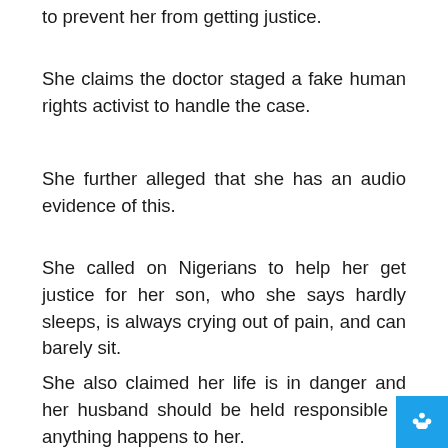to prevent her from getting justice.
She claims the doctor staged a fake human rights activist to handle the case.
She further alleged that she has an audio evidence of this.
She called on Nigerians to help her get justice for her son, who she says hardly sleeps, is always crying out of pain, and can barely sit.
She also claimed her life is in danger and her husband should be held responsible if anything happens to her.